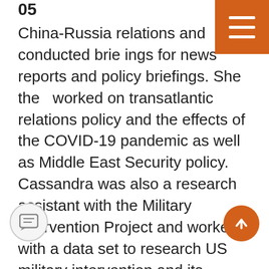05
China-Russia relations and conducted briefings for news reports and policy briefings. She then worked on transatlantic relations policy and the effects of the COVID-19 pandemic as well as Middle East Security policy. Cassandra was also a research assistant with the Military Intervention Project and worked with a data set to research US military intervention and its consequences abroad. Additionally, she has conducted research on the development of international human rights law and political science theory with the University of Michigan. At WIIS, Cassandra is working on several projects including research on masculinities in international security with Dr. Chantal de Jonge Oudraat, the summer member engagement